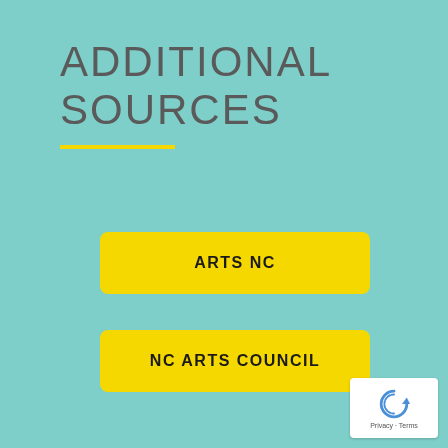ADDITIONAL SOURCES
ARTS NC
NC ARTS COUNCIL
[Figure (logo): reCAPTCHA badge with recycling arrow icon and Privacy - Terms text]